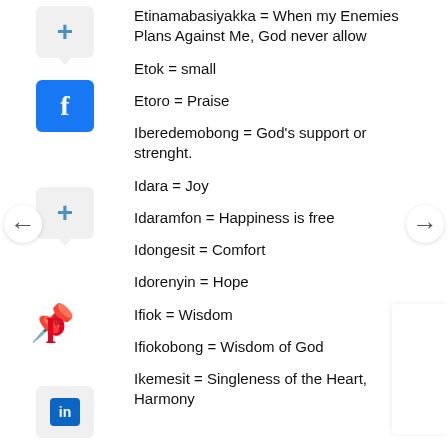Etinamabasiyakka = When my Enemies Plans Against Me, God never allow
Etok = small
Etoro = Praise
Iberedemobong = God's support or strenght.
Idara = Joy
Idaramfon = Happiness is free
Idongesit = Comfort
Idorenyin = Hope
Ifiok = Wisdom
Ifiokobong = Wisdom of God
Ikemesit = Singleness of the Heart, Harmony